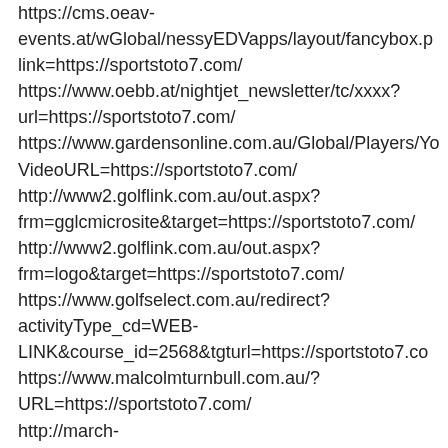https://cms.oeav-events.at/wGlobal/nessyEDVapps/layout/fancybox.p link=https://sportstoto7.com/ https://www.oebb.at/nightjet_newsletter/tc/xxxx?url=https://sportstoto7.com/ https://www.gardensonline.com.au/Global/Players/Yo VideoURL=https://sportstoto7.com/ http://www2.golflink.com.au/out.aspx?frm=gglcmicrosite&target=https://sportstoto7.com/ http://www2.golflink.com.au/out.aspx?frm=logo&target=https://sportstoto7.com/ https://www.golfselect.com.au/redirect?activityType_cd=WEB-LINK&course_id=2568&tgturl=https://sportstoto7.co https://www.malcolmturnbull.com.au/?URL=https://sportstoto7.com/ http://march-hare.com.au/library/default.asp?PP=/library/toc/lib-